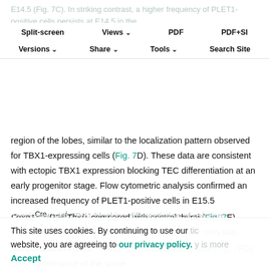E14.5 (Fig. 7C). In striking contrast, a higher frequency of PLET1-positive cells persists at E14.5 in the Foxn1Cre;R26iTbx/+ thymi (Fig. 7D). Furthermore, the PLET1-positive cells in the mutant thymi are found in the outer
Split-screen | Views | PDF | PDF+SI | Versions | Share | Tools | Search Site
region of the lobes, similar to the localization pattern observed for TBX1-expressing cells (Fig. 7D). These data are consistent with ectopic TBX1 expression blocking TEC differentiation at an early progenitor stage. Flow cytometric analysis confirmed an increased frequency of PLET1-positive cells in E15.5 Foxn1Cre;R26iTbx/+ compared with control thymi (Fig. 7E). However, the absolute number of PLET1-positive cells was comparable in Foxn1Cre;R26iTbx/+ and control thymi (Fig. 7FG). The maintenance of the same
consistent with TBX1 blocking differentiation of existing
This site uses cookies. By continuing to use our website, you are agreeing to our privacy policy. Accept